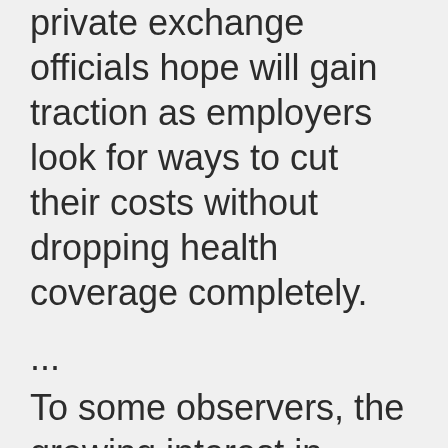private exchange officials hope will gain traction as employers look for ways to cut their costs without dropping health coverage completely.
...
To some observers, the growing interest in private health exchanges indicates